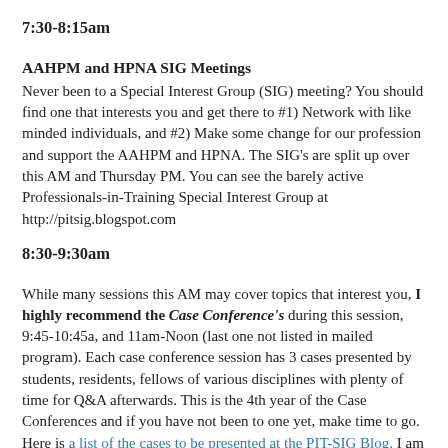7:30-8:15am
AAHPM and HPNA SIG Meetings
Never been to a Special Interest Group (SIG) meeting? You should find one that interests you and get there to #1) Network with like minded individuals, and #2) Make some change for our profession and support the AAHPM and HPNA. The SIG's are split up over this AM and Thursday PM. You can see the barely active Professionals-in-Training Special Interest Group at http://pitsig.blogspot.com
8:30-9:30am
While many sessions this AM may cover topics that interest you, I highly recommend the Case Conference's during this session, 9:45-10:45a, and 11am-Noon (last one not listed in mailed program). Each case conference session has 3 cases presented by students, residents, fellows of various disciplines with plenty of time for Q&A afterwards. This is the 4th year of the Case Conferences and if you have not been to one yet, make time to go. Here is a list of the cases to be presented at the PIT-SIG Blog. I am grateful to the AAHPM/HPNA for expanding this session to three